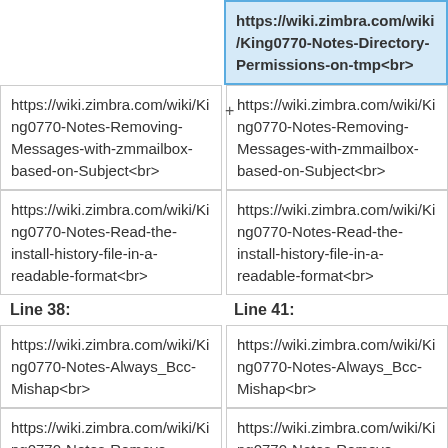|  | https://wiki.zimbra.com/wiki/King0770-Notes-Directory-Permissions-on-tmp<br> |
| https://wiki.zimbra.com/wiki/King0770-Notes-Removing-Messages-with-zmmailbox-based-on-Subject<br> | https://wiki.zimbra.com/wiki/King0770-Notes-Removing-Messages-with-zmmailbox-based-on-Subject<br> |
| https://wiki.zimbra.com/wiki/King0770-Notes-Read-the-install-history-file-in-a-readable-format<br> | https://wiki.zimbra.com/wiki/King0770-Notes-Read-the-install-history-file-in-a-readable-format<br> |
| Line 38: | Line 41: |
| https://wiki.zimbra.com/wiki/King0770-Notes-Always_Bcc-Mishap<br> | https://wiki.zimbra.com/wiki/King0770-Notes-Always_Bcc-Mishap<br> |
| https://wiki.zimbra.com/wiki/King0770-Notes-Remove... | https://wiki.zimbra.com/wiki/King0770-Notes-Remove... |